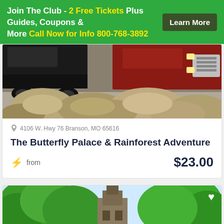Join The Club - 2 Free Tickets Plus Guides, Coupons & More Call Now for Info 800-768-3892  Learn More
[Figure (photo): Photo of trucks/jeeps parked near large rocks, outdoor adventure scene]
4106 W. Hwy 76 Branson, MO 65616
The Butterfly Palace & Rainforest Adventure
⚡ from  $23.00
[Figure (photo): Photo of trees and a wooden structure/building in a forested area with a Book Now button overlay]
Book Now